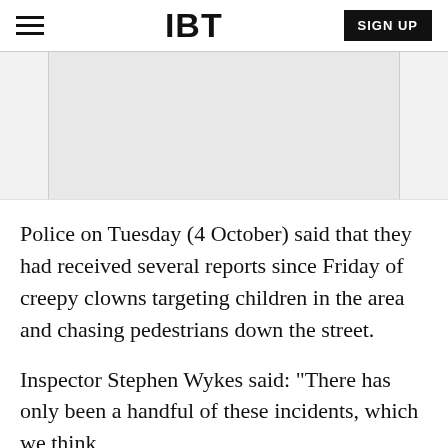IBT
[Figure (other): Gray advertisement/banner placeholder area]
Police on Tuesday (4 October) said that they had received several reports since Friday of creepy clowns targeting children in the area and chasing pedestrians down the street.
Inspector Stephen Wykes said: "There has only been a handful of these incidents, which we think